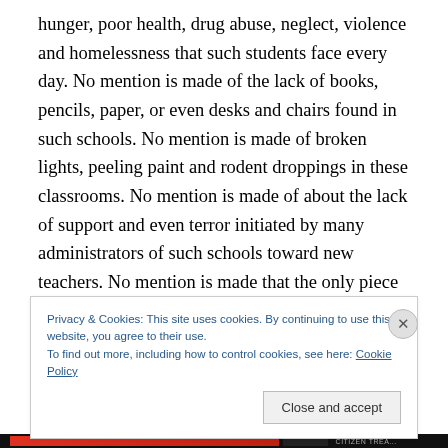hunger, poor health, drug abuse, neglect, violence and homelessness that such students face every day. No mention is made of the lack of books, pencils, paper, or even desks and chairs found in such schools. No mention is made of broken lights, peeling paint and rodent droppings in these classrooms. No mention is made of about the lack of support and even terror initiated by many administrators of such schools toward new teachers. No mention is made that the only piece of technology these classrooms have is maybe a single outdated computer with intermittent internet access. No mentioned is made
Privacy & Cookies: This site uses cookies. By continuing to use this website, you agree to their use.
To find out more, including how to control cookies, see here: Cookie Policy